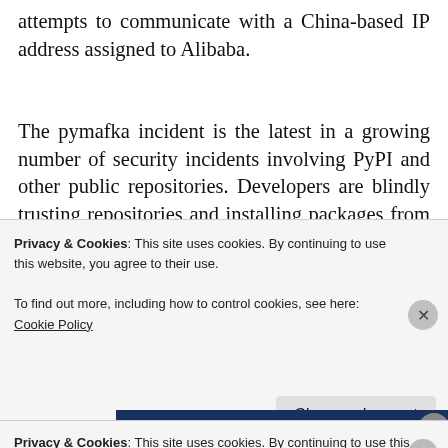attempts to communicate with a China-based IP address assigned to Alibaba.
The pymafka incident is the latest in a growing number of security incidents involving PyPI and other public repositories. Developers are blindly trusting repositories and installing packages from these sources, assuming they are secure
[Figure (illustration): Green Jetpack advertisement banner with logo and dot pattern background]
Privacy & Cookies: This site uses cookies. By continuing to use this website, you agree to their use.
To find out more, including how to control cookies, see here: Cookie Policy
Close and accept
quizzes, and forms.